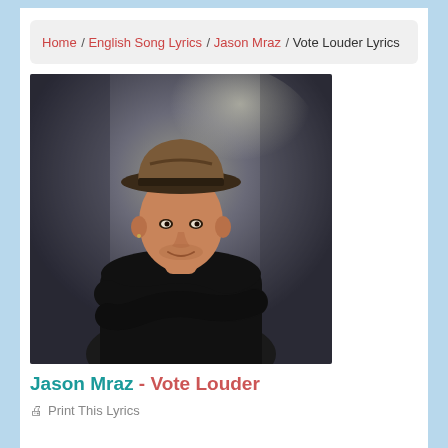Home / English Song Lyrics / Jason Mraz / Vote Louder Lyrics
[Figure (photo): Portrait photo of Jason Mraz wearing a brown fedora hat and black long-sleeve shirt, arms crossed, against a dark textured background]
Jason Mraz - Vote Louder
Print This Lyrics